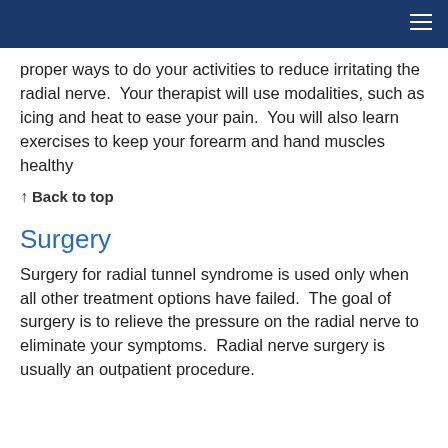proper ways to do your activities to reduce irritating the radial nerve.  Your therapist will use modalities, such as icing and heat to ease your pain.  You will also learn exercises to keep your forearm and hand muscles healthy
↑ Back to top
Surgery
Surgery for radial tunnel syndrome is used only when all other treatment options have failed.  The goal of surgery is to relieve the pressure on the radial nerve to eliminate your symptoms.  Radial nerve surgery is usually an outpatient procedure.